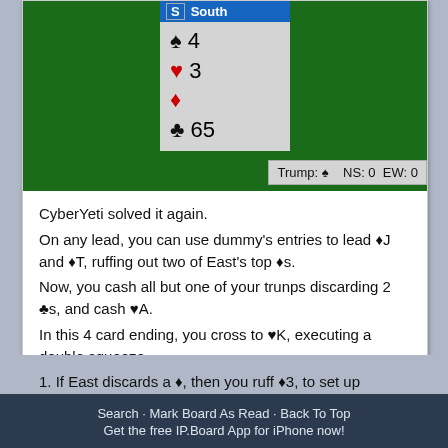[Figure (other): Bridge card game diagram showing South hand: Spades 4, Hearts 3, Diamonds (none shown), Clubs 65. Trump: Spades, NS: 0, EW: 0]
CyberYeti solved it again.
On any lead, you can use dummy's entries to lead ♦J and ♦T, ruffing out two of East's top ♦s.
Now, you cash all but one of your trunps discarding 2 ♣s, and cash ♥A.
In this 4 card ending, you cross to ♥K, executing a double squeeze.
1. If East discards a ♦, then you ruff ♦3, to set up dummy's ♦9.
2. If West discards a ♦, then you lead ♦9 covered by East, to set up dummy's ♦3.
3. If both defenders keep ♦s, then you cash ♣A, ruff a ♦, and ♣6 is good.
Search · Mark Board As Read · Back To Top
Get the free IP.Board App for iPhone now!